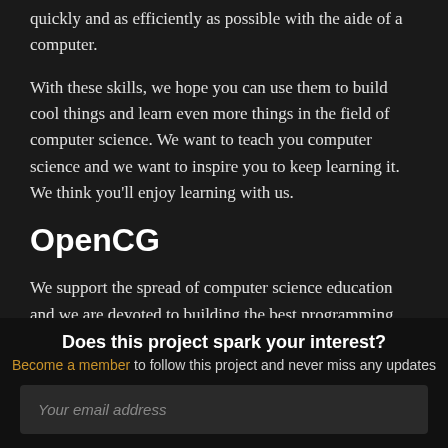quickly and as efficiently as possible with the aide of a computer.
With these skills, we hope you can use them to build cool things and learn even more things in the field of computer science. We want to teach you computer science and we want to inspire you to keep learning it. We think you'll enjoy learning with us.
OpenCG
We support the spread of computer science education and we are devoted to building the best programming courses we can possibly create. We are also devoted to building the best possible, open sourced, curriculum for our courses. This is why we started OpenCG, or Open
Does this project spark your interest?
Become a member to follow this project and never miss any updates
Your email address